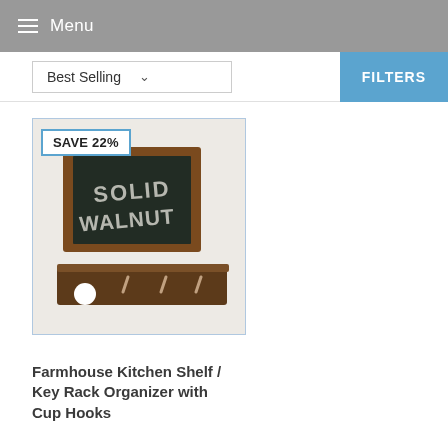Menu
Best Selling
FILTERS
[Figure (photo): Product photo of a Farmhouse Kitchen Shelf / Key Rack Organizer with a chalkboard sign reading 'SOLID WALNUT' and hooks at the bottom. A 'SAVE 22%' badge overlays the top-left corner.]
Farmhouse Kitchen Shelf / Key Rack Organizer with Cup Hooks